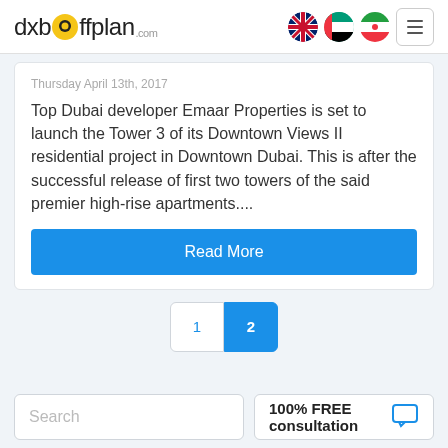dxboffplan.com
Thursday April 13th, 2017
Top Dubai developer Emaar Properties is set to launch the Tower 3 of its Downtown Views II residential project in Downtown Dubai. This is after the successful release of first two towers of the said premier high-rise apartments....
Read More
1  2
Search
100% FREE consultation